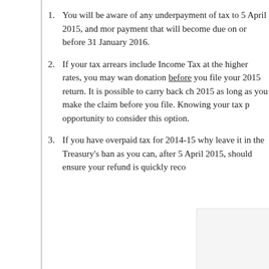You will be aware of any underpayment of tax to 5 April 2015, and more importantly any payment that will become due on or before 31 January 2016.
If your tax arrears include Income Tax at the higher rates, you may want to make a Gift Aid donation before you file your 2015 return. It is possible to carry back charitable donations to 2015 as long as you make the claim before you file. Knowing your tax position gives you the opportunity to consider this option.
If you have overpaid tax for 2014-15 why leave it in the Treasury's bank account? Filing as you can, after 5 April 2015, should ensure your refund is quickly reco
This entry was posted on Tuesday, January 6th, 2015 at 12:00 am and is filed u any responses to this entry through the RSS 2.0 feed. Both comments and ping